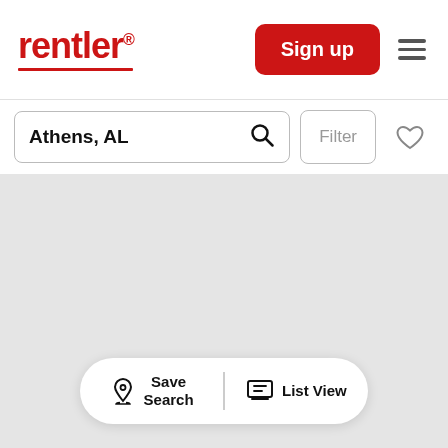rentler® Sign up
Athens, AL
[Figure (screenshot): Map view area showing a blank gray map placeholder for Athens, AL rental search results]
Save Search   List View